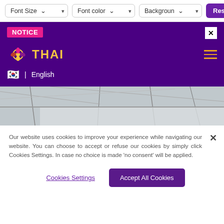[Figure (screenshot): Top toolbar with Font Size, Font color, Background dropdowns and Reset style button]
NOTICE
[Figure (logo): Thai Airways logo with Thai text in gold on purple background]
English
[Figure (photo): Airport interior photo strip showing glass ceiling and structure]
Our website uses cookies to improve your experience while navigating our website. You can choose to accept or refuse our cookies by simply click Cookies Settings. In case no choice is made 'no consent' will be applied.
Cookies Settings
Accept All Cookies